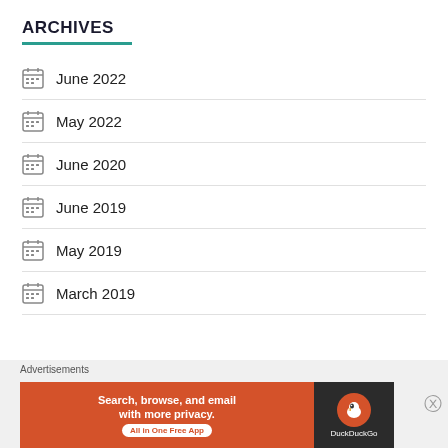ARCHIVES
June 2022
May 2022
June 2020
June 2019
May 2019
March 2019
Advertisements
[Figure (other): DuckDuckGo advertisement banner: 'Search, browse, and email with more privacy. All in One Free App' with DuckDuckGo duck logo on dark background]